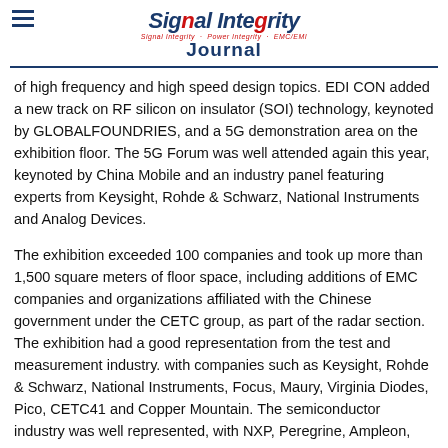Signal Integrity Journal — Signal Integrity · Power Integrity · EMC/EMI
of high frequency and high speed design topics. EDI CON added a new track on RF silicon on insulator (SOI) technology, keynoted by GLOBALFOUNDRIES, and a 5G demonstration area on the exhibition floor. The 5G Forum was well attended again this year, keynoted by China Mobile and an industry panel featuring experts from Keysight, Rohde & Schwarz, National Instruments and Analog Devices.
The exhibition exceeded 100 companies and took up more than 1,500 square meters of floor space, including additions of EMC companies and organizations affiliated with the Chinese government under the CETC group, as part of the radar section. The exhibition had a good representation from the test and measurement industry. with companies such as Keysight, Rohde & Schwarz, National Instruments, Focus, Maury, Virginia Diodes, Pico, CETC41 and Copper Mountain. The semiconductor industry was well represented, with NXP, Peregrine, Ampleon, MACOM, GLOBALFOUNDRIES, TowerJazz,